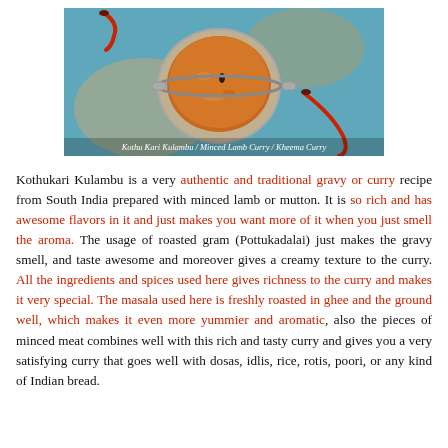[Figure (photo): Overhead view of Kothukari Kulambu (Minced Lamb Curry / Kheema Curry) in a metal bowl on a blue surface with red chillies]
Kothu Kari Kulambu / Minced Lamb Curry / Kheema Curry
Kothukari Kulambu is a very authentic and traditional gravy or curry recipe from South India prepared with minced lamb or mutton. It is so rich and has awesome flavors in it and just makes you want more of it when you just smell the aroma. The usage of roasted gram (Pottukadalai) just makes the gravy smell, and taste awesome and moreover gives a creamy texture to the curry. All the ingredients and spices used here gives richness to the curry and makes it very special. The masala used here is freshly roasted in ghee and the ground well, which makes it even more yummier and aromatic, also the pieces of minced meat combines well with this rich and tasty curry and gives you a very satisfying curry that goes well with dosas, idlis, rice, rotis, poori, or any kind of Indian bread.